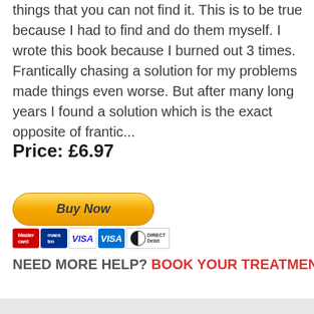things that you can not find it. This is to be true because I had to find and do them myself. I wrote this book because I burned out 3 times. Frantically chasing a solution for my problems made things even worse. But after many long years I found a solution which is the exact opposite of frantic...
Price: £6.97
[Figure (other): Buy Now button with PayPal-style golden gradient styling and italic bold text]
[Figure (other): Payment method icons: Mastercard, Maestro, Visa, Visa (American Express), Direct Debit]
NEED MORE HELP? BOOK YOUR TREATMENT HERE